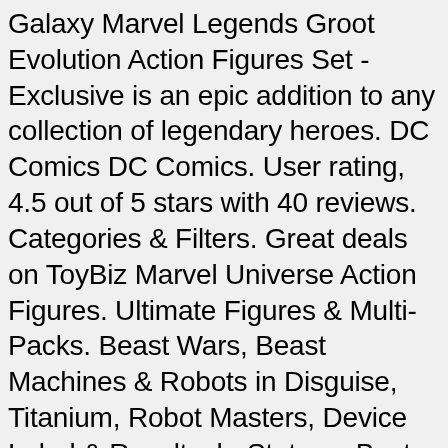Galaxy Marvel Legends Groot Evolution Action Figures Set - Exclusive is an epic addition to any collection of legendary heroes. DC Comics DC Comics. User rating, 4.5 out of 5 stars with 40 reviews. Categories & Filters. Great deals on ToyBiz Marvel Universe Action Figures. Ultimate Figures & Multi-Packs. Beast Wars, Beast Machines & Robots in Disguise, Titanium, Robot Masters, Device Label & Revoltech, Statues, Busts & High-End Non-Toy Collectibles. The Amazing Spider-Man Marvel Legends Action Figures The Lizard Wave brings back generations of Spider-Man in an awesome 6-inch scale action figure form. Sections. Marvel Action Figures - Buy Marvel Action Figures at India's Best Online Shopping Store. Marvel Select 7" Action Figures. Shop Target for Marvel Action Figures you will love at great low prices. Bldg.KSuffern, NY 10901. Playskool Heroes Marvel Super Hero Adventures Ultimate Super Hero Set, 10 Collectible 2.5-Inch Action Figures. Toys for Kids Ages 3 and Up (Amazon...